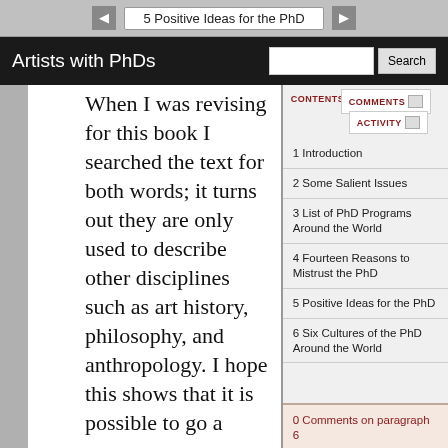5 Positive Ideas for the PhD
Artists with PhDs
When I was revising for this book I searched the text for both words; it turns out they are only used to describe other disciplines such as art history, philosophy, and anthropology. I hope this shows that it is possible to go a
1 Introduction
2 Some Salient Issues
3 List of PhD Programs Around the World
4 Fourteen Reasons to Mistrust the PhD
5 Positive Ideas for the PhD
6 Six Cultures of the PhD Around the World
0 Comments on paragraph 6